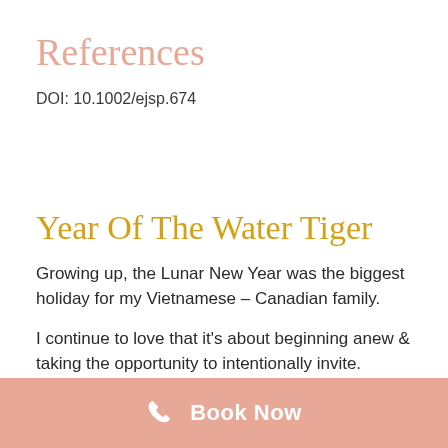References
DOI: 10.1002/ejsp.674
Year Of The Water Tiger
Growing up, the Lunar New Year was the biggest holiday for my Vietnamese – Canadian family.
I continue to love that it's about beginning anew & taking the opportunity to intentionally invite.
Book Now